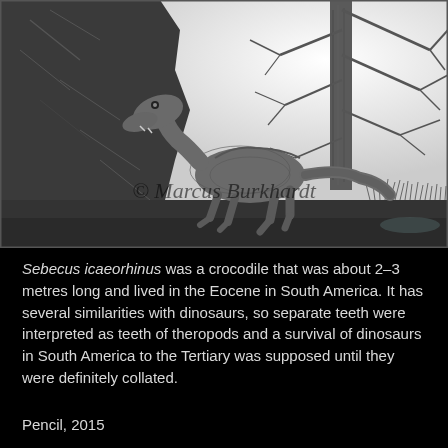[Figure (illustration): Black and white pencil illustration of Sebecus icaeorhinus, a crocodile-like reptile, standing among rocks with a large cliff or boulder on the left and a bare tree on the right. Watermark text reads '© Marcus Burkhardt'. Signed and dated in lower right corner.]
Sebecus icaeorhinus was a crocodile that was about 2–3 metres long and lived in the Eocene in South America. It has several similarities with dinosaurs, so separate teeth were interpreted as teeth of theropods and a survival of dinosaurs in South America to the Tertiary was supposed until they were definitely collated.
Pencil, 2015